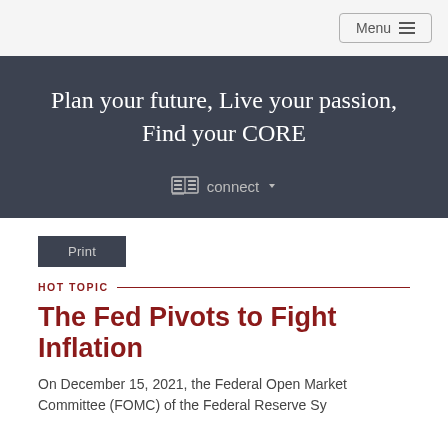Menu
Plan your future, Live your passion, Find your CORE
connect
Print
HOT TOPIC
The Fed Pivots to Fight Inflation
On December 15, 2021, the Federal Open Market Committee (FOMC) of the Federal Reserve System